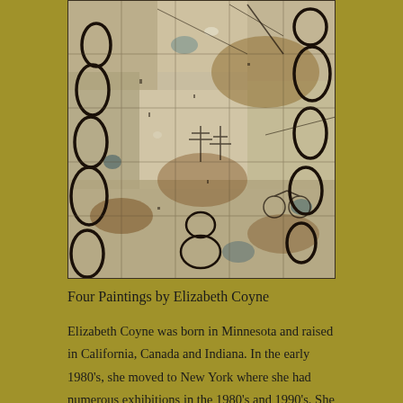[Figure (illustration): Abstract mixed-media painting with layers of textures, overlapping oval chain-like forms in black ink on a pale background with earth tones. Complex marks, symbols, and gestural brushwork throughout.]
Four Paintings by Elizabeth Coyne
Elizabeth Coyne was born in Minnesota and raised in California, Canada and Indiana. In the early 1980's, she moved to New York where she had numerous exhibitions in the 1980's and 1990's. She has Masters of Fine Arts in painting from the Rochester Institute of